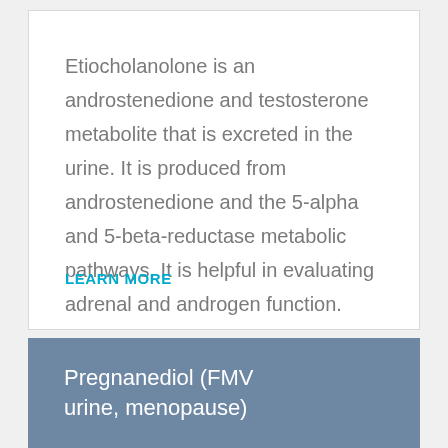Etiocholanolone is an androstenedione and testosterone metabolite that is excreted in the urine. It is produced from androstenedione and the 5-alpha and 5-beta-reductase metabolic pathways. It is helpful in evaluating adrenal and androgen function.
LEARN MORE
Pregnanediol (FMV urine, menopause)